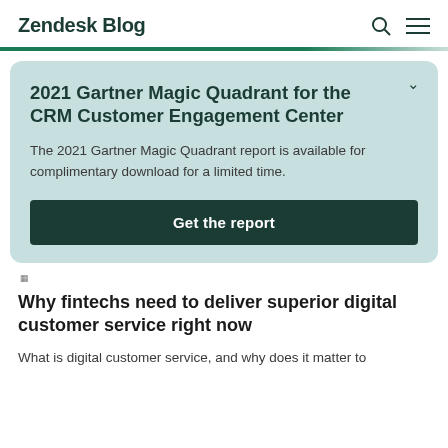Zendesk Blog
2021 Gartner Magic Quadrant for the CRM Customer Engagement Center
The 2021 Gartner Magic Quadrant report is available for complimentary download for a limited time.
Get the report
Why fintechs need to deliver superior digital customer service right now
What is digital customer service, and why does it matter to